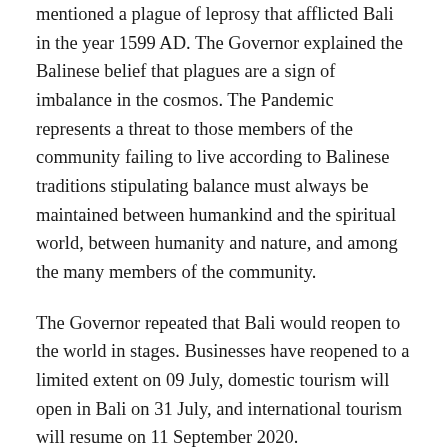mentioned a plague of leprosy that afflicted Bali in the year 1599 AD. The Governor explained the Balinese belief that plagues are a sign of imbalance in the cosmos. The Pandemic represents a threat to those members of the community failing to live according to Balinese traditions stipulating balance must always be maintained between humankind and the spiritual world, between humanity and nature, and among the many members of the community.
The Governor repeated that Bali would reopen to the world in stages. Businesses have reopened to a limited extent on 09 July, domestic tourism will open in Bali on 31 July, and international tourism will resume on 11 September 2020.
The first-phase of Bali's reopening on 09 July permits the opening of health facilities, government offices, traditional and religious agencies, financial institutions, industry, business